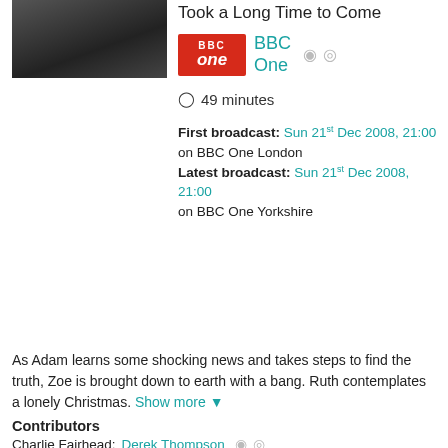[Figure (photo): Dark thumbnail photo of a person]
Took a Long Time to Come
BBC One
49 minutes
First broadcast: Sun 21st Dec 2008, 21:00 on BBC One London
Latest broadcast: Sun 21st Dec 2008, 21:00 on BBC One Yorkshire
As Adam learns some shocking news and takes steps to find the truth, Zoe is brought down to earth with a bang. Ruth contemplates a lonely Christmas. Show more
Contributors
Charlie Fairhead: Derek Thompson